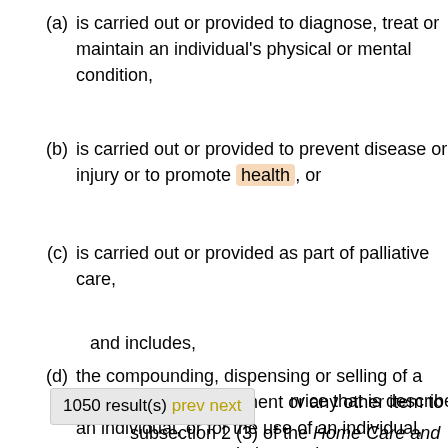(a) is carried out or provided to diagnose, treat or maintain an individual's physical or mental condition,
(b) is carried out or provided to prevent disease or injury or to promote health, or
(c) is carried out or provided as part of palliative care,
and includes,
(d) the compounding, dispensing or selling of a drug, a device, equipment or any other item to an individual, or for the use of an individual, pursuant to a prescription, and
1050 result(s) prev next
rvice that is described in subsection 2 (3) of the Home Care and